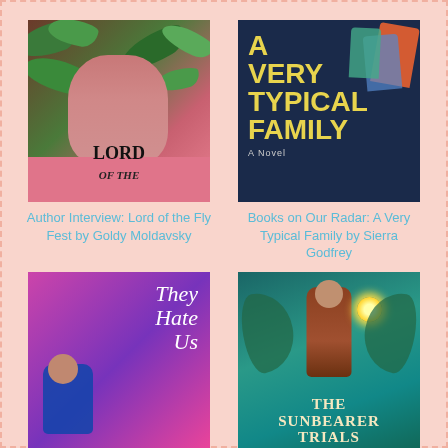[Figure (illustration): Book cover for 'Lord of the Fly Fest' by Goldy Moldavsky showing a girl's face obscured by tropical leaves with text 'LORD OF THE' visible at bottom]
[Figure (illustration): Book cover for 'A Very Typical Family' by Sierra Godfrey showing stacked chairs on a dark blue background with yellow bold title text and 'A Novel' subtitle]
Author Interview: Lord of the Fly Fest by Goldy Moldavsky
Books on Our Radar: A Very Typical Family by Sierra Godfrey
[Figure (illustration): Book cover showing a person sitting with neon pink/purple background and text 'They Hate Us']
[Figure (illustration): Book cover for 'The Sunbearer Trials' showing a figure holding a glowing orb with teal/green background]
New Release Tuesday: YA
Cover Crush: The